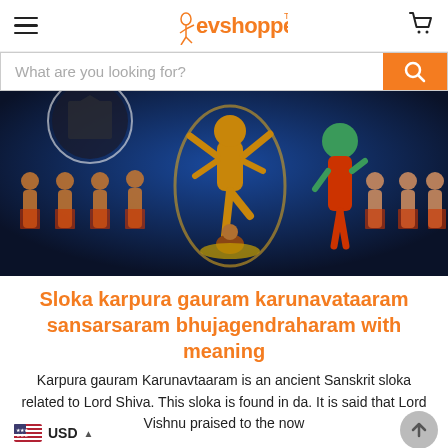evshoppe (logo) - navigation header with hamburger menu and cart icon
[Figure (screenshot): Search bar with placeholder text 'What are you looking for?' and orange search button]
[Figure (photo): Hindu religious painting showing Lord Shiva dancing (Nataraja) with attendants and Parvati, colorful traditional Indian art style]
Sloka karpura gauram karunavataaram sansarsaram bhujagendraharam with meaning
Karpura gauram Karunavtaaram is an ancient Sanskrit sloka related to Lord Shiva. This sloka is found in da. It is said that Lord Vishnu praised to the now
USD